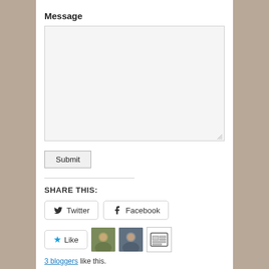Message
[Figure (screenshot): Empty textarea input box with resize handle in bottom-right corner]
[Figure (screenshot): Submit button]
SHARE THIS:
[Figure (screenshot): Twitter and Facebook share buttons with icons]
[Figure (screenshot): Like button with blue star, two blogger avatar photos, and a widget icon]
3 bloggers like this.